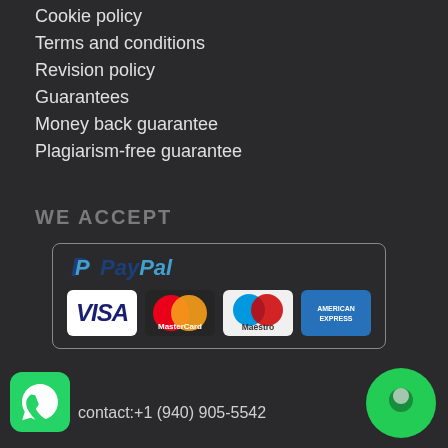Cookie policy
Terms and conditions
Revision policy
Guarantees
Money back guarantee
Plagiarism-free guarantee
WE ACCEPT
[Figure (logo): Payment methods box showing PayPal logo and card logos: Visa, MasterCard, Maestro, American Express]
[Figure (logo): WhatsApp icon button]
contact:+1 (940) 905-5542
[Figure (other): Green circular chat button]